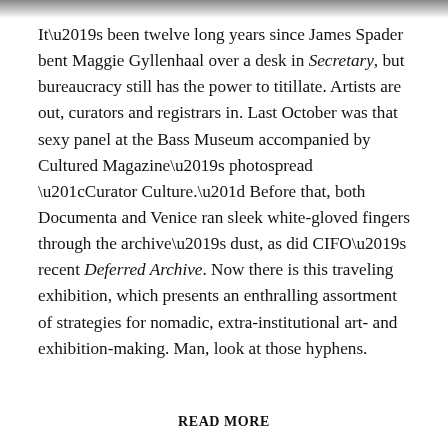[Figure (photo): Partial image visible at top of page, cropped strip]
It’s been twelve long years since James Spader bent Maggie Gyllenhaal over a desk in Secretary, but bureaucracy still has the power to titillate. Artists are out, curators and registrars in. Last October was that sexy panel at the Bass Museum accompanied by Cultured Magazine’s photospread “Curator Culture.” Before that, both Documenta and Venice ran sleek white-gloved fingers through the archive’s dust, as did CIFO’s recent Deferred Archive. Now there is this traveling exhibition, which presents an enthralling assortment of strategies for nomadic, extra-institutional art- and exhibition-making. Man, look at those hyphens.
READ MORE